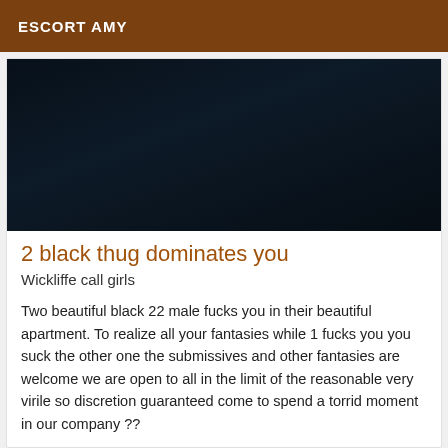ESCORT AMY
[Figure (photo): Dark nearly black photo background serving as header image for listing]
2 black thug dominates you
Wickliffe call girls
Two beautiful black 22 male fucks you in their beautiful apartment. To realize all your fantasies while 1 fucks you you suck the other one the submissives and other fantasies are welcome we are open to all in the limit of the reasonable very virile so discretion guaranteed come to spend a torrid moment in our company ??
Online